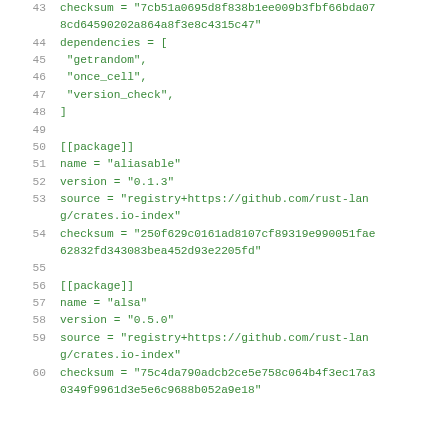43  checksum = "7cb51a0695d8f838b1ee009b3fbf66bda07
    8cd64590202a864a8f3e8c4315c47"
44  dependencies = [
45   "getrandom",
46   "once_cell",
47   "version_check",
48   ]
49  (blank)
50  [[package]]
51  name = "aliasable"
52  version = "0.1.3"
53  source = "registry+https://github.com/rust-lang/crates.io-index"
54  checksum = "250f629c0161ad8107cf89319e990051fae
    62832fd343083bea452d93e2205fd"
55  (blank)
56  [[package]]
57  name = "alsa"
58  version = "0.5.0"
59  source = "registry+https://github.com/rust-lang/crates.io-index"
60  checksum = "75c4da790adcb2ce5e758c064b4f3ec17a3
    0349f9961d3e5e6c9688b052a9e18"